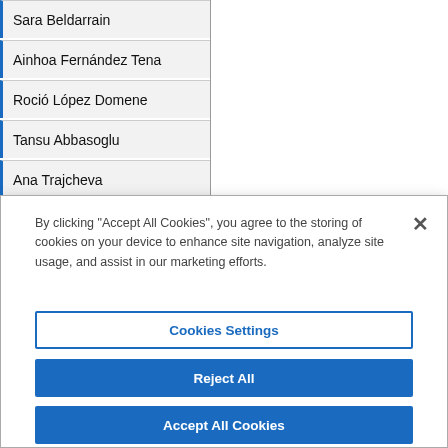Sara Beldarrain
Ainhoa Fernández Tena
Roció López Domene
Tansu Abbasoglu
Ana Trajcheva
Giulia Vozzolo
Aleksandar Sladojevic
By clicking "Accept All Cookies", you agree to the storing of cookies on your device to enhance site navigation, analyze site usage, and assist in our marketing efforts.
Cookies Settings
Reject All
Accept All Cookies